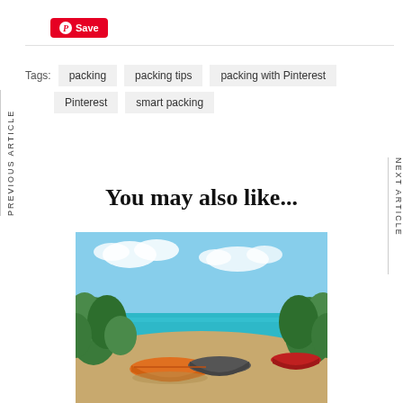[Figure (other): Pinterest Save button - red button with Pinterest P icon and Save text]
Tags:  packing  packing tips  packing with Pinterest  Pinterest  smart packing
PREVIOUS ARTICLE
NEXT ARTICLE
You may also like...
[Figure (photo): Tropical beach scene with colorful wooden boats on shore, lush green tropical vegetation, turquoise sea water and blue sky with clouds in background]